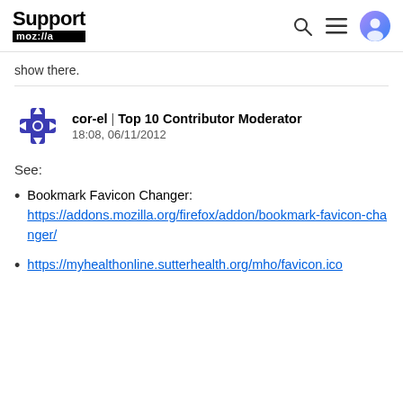Support mozilla | [search icon] [menu icon] [user icon]
show there.
cor-el | Top 10 Contributor Moderator
18:08, 06/11/2012
See:
Bookmark Favicon Changer: https://addons.mozilla.org/firefox/addon/bookmark-favicon-changer/
https://myhealthonline.sutterhealth.org/mho/favicon.ico